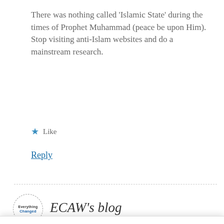There was nothing called ‘Islamic State’ during the times of Prophet Muhammad (peace be upon Him). Stop visiting anti-Islam websites and do a mainstream research.
★ Like
Reply
[Figure (logo): ECAW's blog logo with circular dashed border containing text 'Everything Changed' in two lines]
ECAW’s blog
Privacy & Cookies: This site uses cookies. By continuing to use this website, you agree to their use.
To find out more, including how to control cookies, see here: Cookie Policy
Close and accept